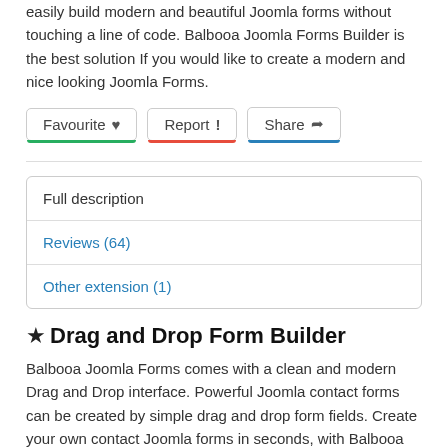easily build modern and beautiful Joomla forms without touching a line of code. Balbooa Joomla Forms Builder is the best solution If you would like to create a modern and nice looking Joomla Forms.
[Figure (screenshot): Three buttons: Favourite (with heart icon, green underline), Report (with exclamation icon, red underline), Share (with arrow icon, blue underline)]
| Full description |
| Reviews (64) |
| Other extension (1) |
★ Drag and Drop Form Builder
Balbooa Joomla Forms comes with a clean and modern Drag and Drop interface. Powerful Joomla contact forms can be created by simple drag and drop form fields. Create your own contact Joomla forms in seconds, with Balbooa Joomla Forms it's easy